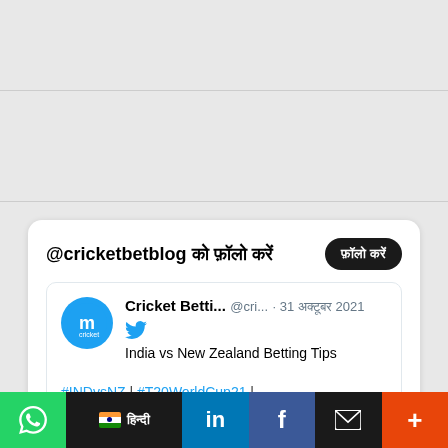[Figure (screenshot): Gray background placeholder area 1]
[Figure (screenshot): Gray background placeholder area 2]
@cricketbetblog को फ़ॉलो करें
फ़ॉलो करें
Cricket Betti... @cri... · 31 अक्टूबर 2021
India vs New Zealand Betting Tips
#INDvsNZ | #T20WorldCup21 | #t20worldcup2021 | #T20WC2021 | #T20 | #Cricket | #cricketprediction | #IndianCricketTeam | #blackcaps